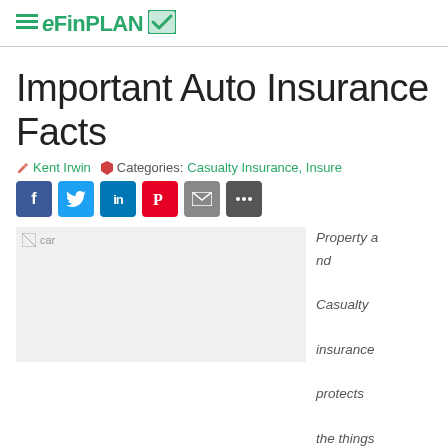eFinPLAN
Important Auto Insurance Facts
Kent Irwin   Categories: Casualty Insurance, Insure
[Figure (other): Social media share buttons: Facebook, Twitter, LinkedIn, Pinterest, Email, More]
[Figure (photo): Car image (broken/unloaded image placeholder labeled 'car')]
Property and Casualty insurance protects the things